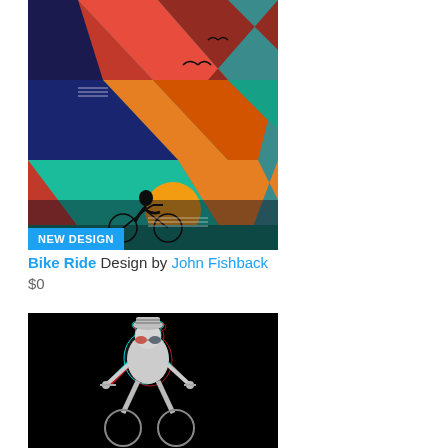[Figure (illustration): Colorful geometric chevron pattern illustration with silhouette of a woman riding a bicycle at sunset. Bold teal, red, orange, and dark purple zigzag shapes fill the background. Birds fly in the sky. A 'NEW DESIGN' badge is overlaid in blue at the bottom left.]
Bike Ride Design by John Fishback
$0
[Figure (illustration): Dark/black background image showing a 3D anaglyph-style illustration of a person wearing a striped hat and glasses riding a bicycle, rendered in white, cyan, and red chromatic aberration effect.]